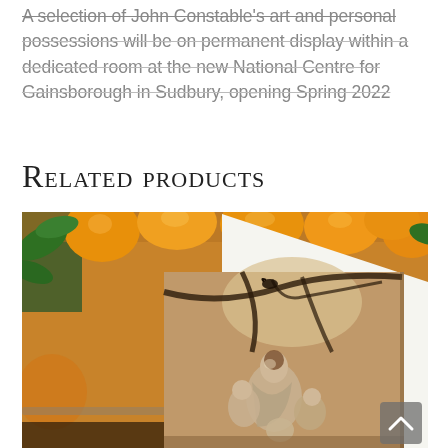possessions will be on permanent display within a dedicated room at the new National Centre for Gainsborough in Sudbury, opening Spring 2022
Related products
[Figure (photo): A greeting card featuring a classical painting of figures (cherubs/angels) under a tree, displayed against a blurred background of oranges and green leaves.]